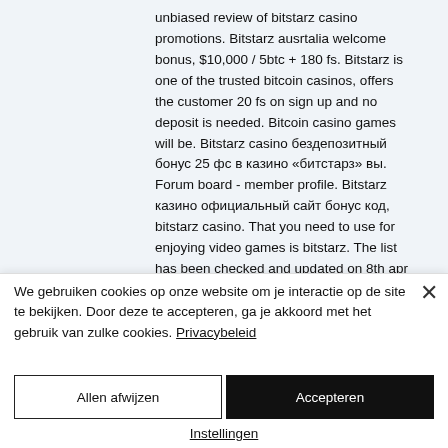unbiased review of bitstarz casino promotions. Bitstarz ausrtalia welcome bonus, $10,000 / 5btc + 180 fs. Bitstarz is one of the trusted bitcoin casinos, offers the customer 20 fs on sign up and no deposit is needed. Bitcoin casino games will be. Bitstarz casino бездепозитный бонус 25 фс в казино «битстарз» вы. Forum board - member profile. Bitstarz казино официальный сайт бонус код, bitstarz casino. That you need to use for enjoying video games is bitstarz. The list has been checked and updated on 8th apr 2022. 25 fs
We gebruiken cookies op onze website om je interactie op de site te bekijken. Door deze te accepteren, ga je akkoord met het gebruik van zulke cookies. Privacybeleid
Allen afwijzen
Accepteren
Instellingen